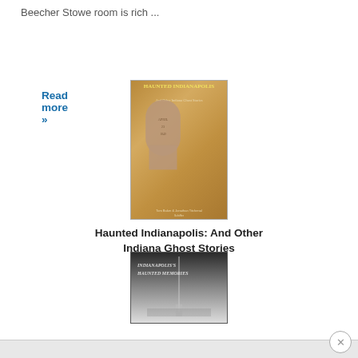Beecher Stowe room is rich ...
Read more »
[Figure (photo): Book cover of 'Haunted Indianapolis: And Other Indiana Ghost Stories' showing a weathered stone grave marker in a forested setting. Authors: Tom Baker & Jonathan Titchenal. Publisher: Schiffer.]
Haunted Indianapolis: And Other Indiana Ghost Stories
Tom Baker
[Figure (photo): Book cover of 'Indianapolis's Haunted Memories' showing a misty black and white image of a tall monument or obelisk against a foggy city skyline.]